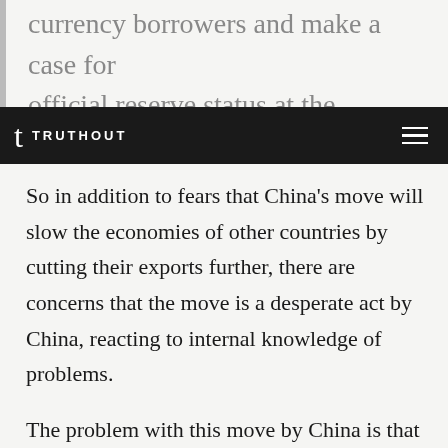currency borrowers and make a case for official reserve status at the International
TRUTHOUT
So in addition to fears that China's move will slow the economies of other countries by cutting their exports further, there are concerns that the move is a desperate act by China, reacting to internal knowledge of problems.
The problem with this move by China is that it risks accelerating another of China's problems – capital flight.